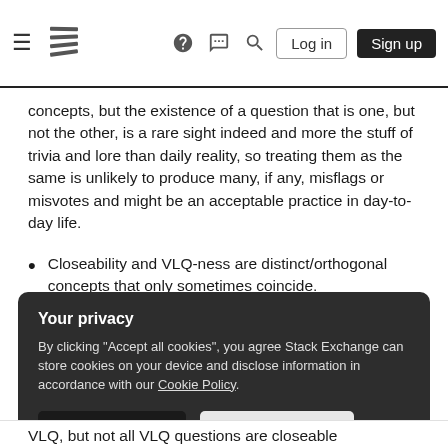Stack Exchange — Log in / Sign up navigation bar
concepts, but the existence of a question that is one, but not the other, is a rare sight indeed and more the stuff of trivia and lore than daily reality, so treating them as the same is unlikely to produce many, if any, misflags or misvotes and might be an acceptable practice in day-to-day life.
Closeability and VLQ-ness are distinct/orthogonal concepts that only sometimes coincide.
Your privacy
By clicking "Accept all cookies", you agree Stack Exchange can store cookies on your device and disclose information in accordance with our Cookie Policy.
VLQ, but not all VLQ questions are closeable